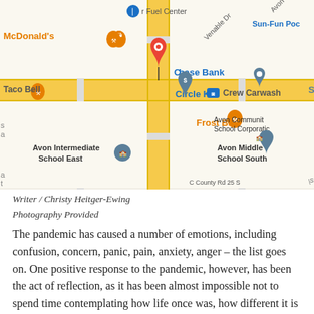[Figure (map): Google Maps screenshot showing intersection near Avon, Indiana. Landmarks visible include: r Fuel Center (blue pin), McDonald's (orange pin), Taco Bell (orange pin), Circle K (blue pin), Frost Bite (orange pin), Chase Bank (red location pin / selected), Crew Carwash (teal pin), Avon Community School Corporation, Avon Middle School South (teal pin), Avon Intermediate School East (teal pin). Road labels: Venable Dr, Avon Pkwy. Sun-Fun Pool partially visible. Yellow highlighted road runs vertically through center. Background is light beige/cream for blocks and light gray for roads.]
Writer / Christy Heitger-Ewing
Photography Provided
The pandemic has caused a number of emotions, including confusion, concern, panic, pain, anxiety, anger – the list goes on. One positive response to the pandemic, however, has been the act of reflection, as it has been almost impossible not to spend time contemplating how life once was, how different it is now,